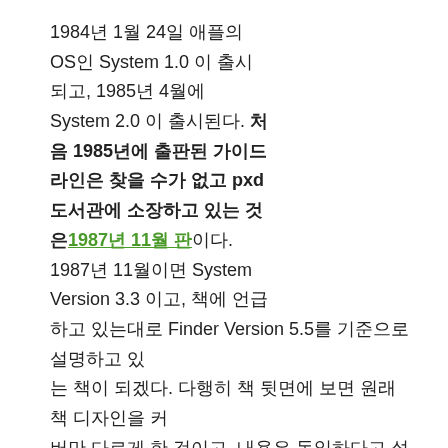1984년 1월 24일 애플의 OS인 System 1.0 이 출시되고, 1985년 4월에 System 2.0 이 출시된다. 처음 1985년에 출판된 가이드라인은 찾을 수가 없고 pxd 도서관에 소장하고 있는 것은1987년 11월 판이다. 1987년 11월이면 System Version 3.3 이고, 책에 언급하고 있는대로 Finder Version 5.5를 기준으로 설명하고 있는 책이 되겠다. 다행히 책 뒷면에 보면 원래 책 디자인을 커버만 다르게 한 것이고, 내용은 동일하다고 설명하고 있다.
책의 서문을 보면 매우 감동적이다.